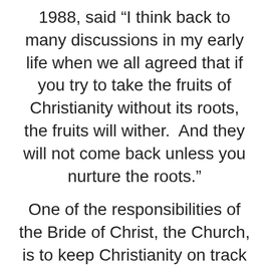1988, said “I think back to many discussions in my early life when we all agreed that if you try to take the fruits of Christianity without its roots, the fruits will wither.  And they will not come back unless you nurture the roots.”
One of the responsibilities of the Bride of Christ, the Church, is to keep Christianity on track and